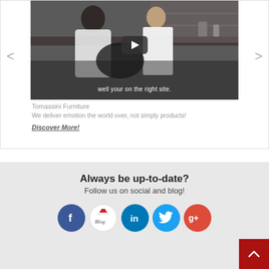[Figure (screenshot): Video thumbnail showing two people at a counter/bar area with a play button overlay and subtitle text 'well your on the right site.']
Tomassini Furniture
We deliver emotion the world over, not simply products!
Discover More!
Always be up-to-date?
Follow us on social and blog!
[Figure (infographic): Row of social media icons: Facebook (blue circle), Blog (white circle with Blog text), LinkedIn (blue circle), Twitter (light blue circle), Google+ (red circle), and a red back-to-top arrow button]